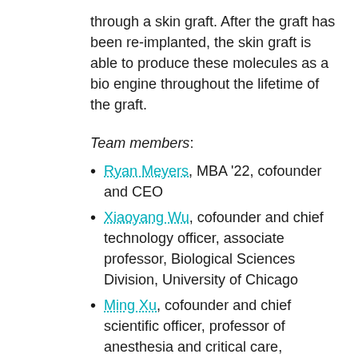through a skin graft. After the graft has been re-implanted, the skin graft is able to produce these molecules as a bio engine throughout the lifetime of the graft.
Team members:
Ryan Meyers, MBA '22, cofounder and CEO
Xiaoyang Wu, cofounder and chief technology officer, associate professor, Biological Sciences Division, University of Chicago
Ming Xu, cofounder and chief scientific officer, professor of anesthesia and critical care, Biological Sciences Division, University of Chicago
// Arrow Immune is developing next-generation